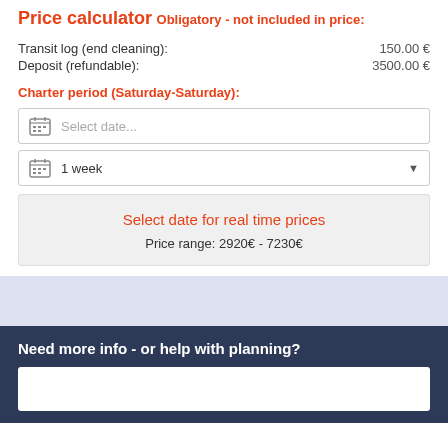Price calculator
Obligatory - not included in price:
Transit log (end cleaning): 150.00 €
Deposit (refundable): 3500.00 €
Charter period (Saturday-Saturday):
Select date...
1 week
Select date for real time prices
Price range: 2920€ - 7230€
Need more info - or help with planning?